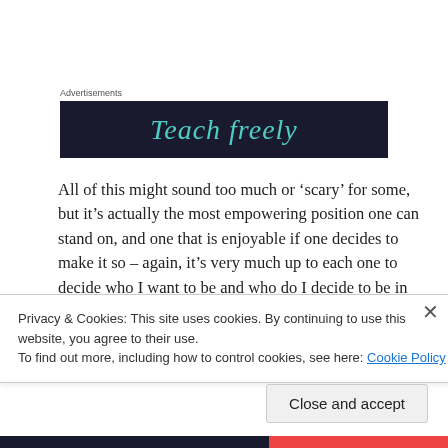Advertisements
[Figure (other): Dark navy blue advertisement banner with teal italic text reading 'Teach freely']
All of this might sound too much or ‘scary’ for some, but it’s actually the most empowering position one can stand on, and one that is enjoyable if one decides to make it so – again, it’s very much up to each one to decide who I want to be and who do I decide to be in this phase of creating the better
Privacy & Cookies: This site uses cookies. By continuing to use this website, you agree to their use.
To find out more, including how to control cookies, see here: Cookie Policy
Close and accept